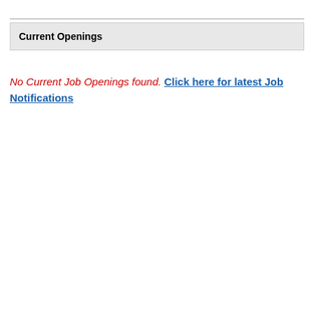Current Openings
No Current Job Openings found. Click here for latest Job Notifications